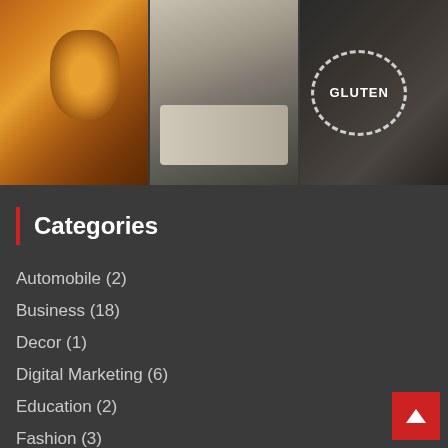[Figure (photo): Three side-by-side photos: honey jar with honeycomb on wooden board, hands typing on laptop, chalkboard with GLUTEN text in dashed circle]
Categories
Automobile (2)
Business (18)
Decor (1)
Digital Marketing (6)
Education (2)
Fashion (3)
Gadgets (38)
Health (7)
Law (1)
Lifestyle (4)